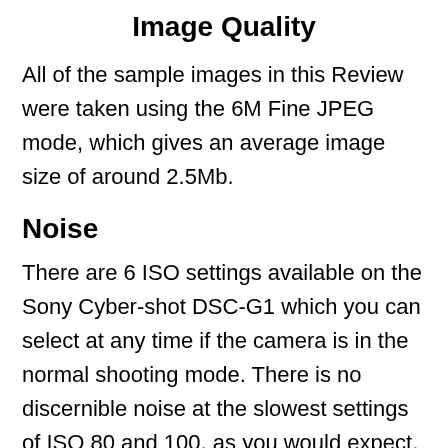Image Quality
All of the sample images in this Review were taken using the 6M Fine JPEG mode, which gives an average image size of around 2.5Mb.
Noise
There are 6 ISO settings available on the Sony Cyber-shot DSC-G1 which you can select at any time if the camera is in the normal shooting mode. There is no discernible noise at the slowest settings of ISO 80 and 100, as you would expect, but noise is already starting to appear at ISO 200. There is quite obvious noise at ISO 400, along with blurring of detail, and by ISO 800 it is very obvious. ISO 1000 is virtually unusable, looking